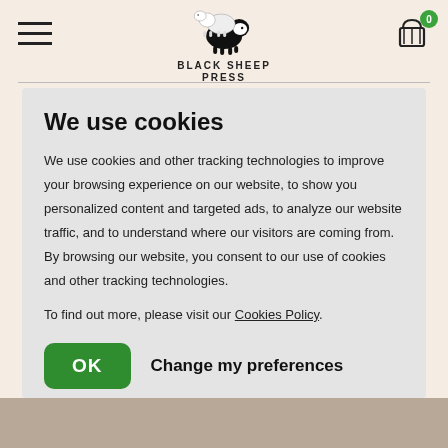BLACK SHEEP PRESS — navigation header with hamburger menu, logo, and cart (0 items)
We use cookies
We use cookies and other tracking technologies to improve your browsing experience on our website, to show you personalized content and targeted ads, to analyze our website traffic, and to understand where our visitors are coming from. By browsing our website, you consent to our use of cookies and other tracking technologies.
To find out more, please visit our Cookies Policy.
OK   Change my preferences